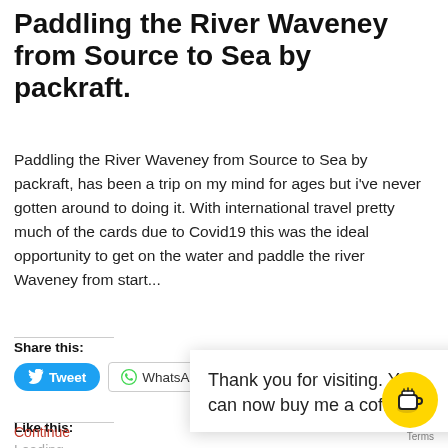Paddling the River Waveney from Source to Sea by packraft.
Paddling the River Waveney from Source to Sea by packraft, has been a trip on my mind for ages but i've never gotten around to doing it. With international travel pretty much of the cards due to Covid19 this was the ideal opportunity to get on the water and paddle the river Waveney from start...
Share this:
Tweet   WhatsApp   Email
Like this:
Loading...
Thank you for visiting. You can now buy me a coffee!
Continue
Terms